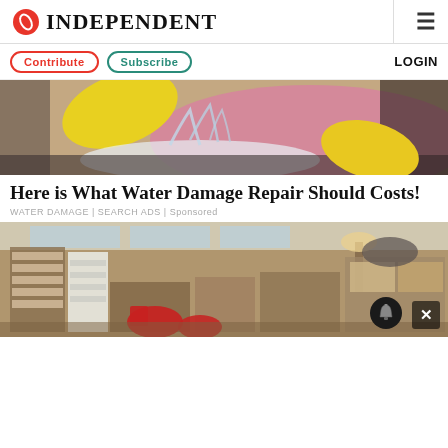INDEPENDENT
Contribute | Subscribe | LOGIN
[Figure (photo): Woman wearing yellow rubber gloves cleaning or washing with water splashing]
Here is What Water Damage Repair Should Costs!
WATER DAMAGE | SEARCH ADS | Sponsored
[Figure (photo): Cluttered furniture store or warehouse with various furniture items including red chairs, shelving units, tables and lamps]